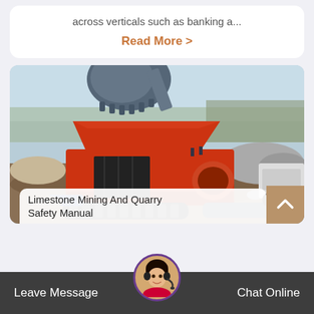across verticals such as banking a...
Read More >
[Figure (photo): Industrial limestone mining and quarry machinery — a large red mobile crushing/screening machine in an outdoor quarry setting, with an excavator bucket visible at top and piles of rock/aggregate in the background. Clear sky visible.]
Limestone Mining And Quarry Safety Manual
Leave Message
Chat Online